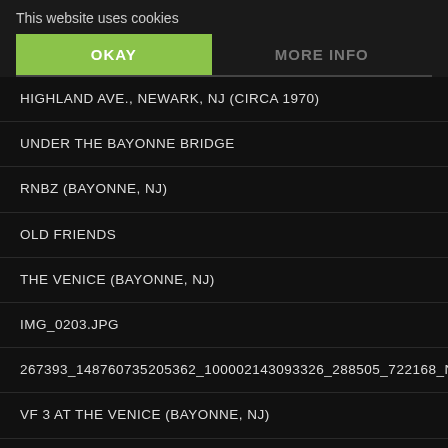This website uses cookies
OKAY
MORE INFO
HIGHLAND AVE., NEWARK, NJ (CIRCA 1970)
UNDER THE BAYONNE BRIDGE
RNBZ (BAYONNE, NJ)
OLD FRIENDS
THE VENICE (BAYONNE, NJ)
IMG_0203.JPG
267393_148760735205362_100002143093326_288505_722168_N.JPG
VF 3 AT THE VENICE (BAYONNE, NJ)
BAR ( (HELL'S KITCHEN, NYC)
WITH KENNY KRAMME AND MARC WEST